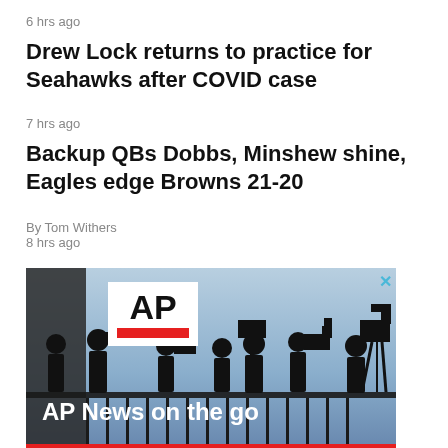6 hrs ago
Drew Lock returns to practice for Seahawks after COVID case
7 hrs ago
Backup QBs Dobbs, Minshew shine, Eagles edge Browns 21-20
By Tom Withers
8 hrs ago
[Figure (photo): AP News advertisement showing silhouettes of media/camera operators against a sky background, with AP logo and text 'AP News on the go']